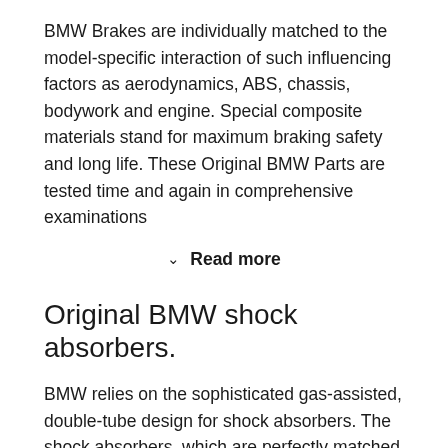BMW Brakes are individually matched to the model-specific interaction of such influencing factors as aerodynamics, ABS, chassis, bodywork and engine. Special composite materials stand for maximum braking safety and long life. These Original BMW Parts are tested time and again in comprehensive examinations
Read more
Original BMW shock absorbers.
BMW relies on the sophisticated gas-assisted, double-tube design for shock absorbers. The shock absorbers, which are perfectly matched to the vehicle engine, are characterised by the improved ride comfort, finer response behaviour and lower noise development. The functional stability is also guaranteed even under extreme conditions: Even between -40 and +100